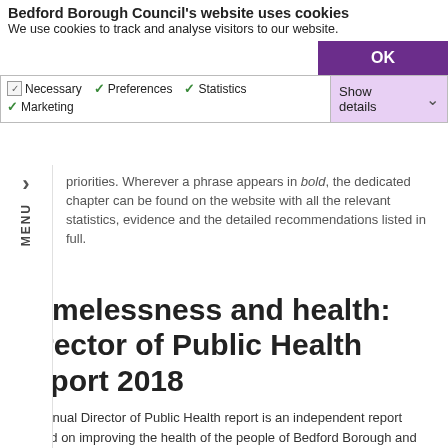Bedford Borough Council's website uses cookies
We use cookies to track and analyse visitors to our website.
OK
Necessary Preferences Statistics Marketing Show details
priorities. Wherever a phrase appears in bold, the dedicated chapter can be found on the website with all the relevant statistics, evidence and the detailed recommendations listed in full.
Homelessness and health: Director of Public Health Report 2018
The annual Director of Public Health report is an independent report focused on improving the health of the people of Bedford Borough and this year the report